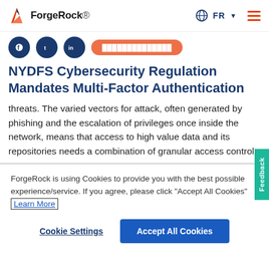ForgeRock | FR
[Figure (logo): ForgeRock logo with flame icon and text, plus globe FR language selector and hamburger menu]
[Figure (infographic): Social sharing icons (circular blue icons) and an orange share button]
NYDFS Cybersecurity Regulation Mandates Multi-Factor Authentication
threats. The varied vectors for attack, often generated by phishing and the escalation of privileges once inside the network, means that access to high value data and its repositories needs a combination of granular access control,
ForgeRock is using Cookies to provide you with the best possible experience/service. If you agree, please click "Accept All Cookies" Learn More
Cookie Settings | Accept All Cookies